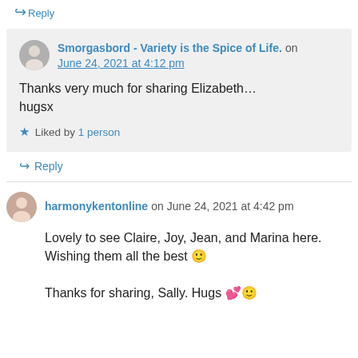↪ Reply
Smorgasbord - Variety is the Spice of Life. on June 24, 2021 at 4:12 pm
Thanks very much for sharing Elizabeth... hugsx
★ Liked by 1 person
↪ Reply
harmonykentonline on June 24, 2021 at 4:42 pm
Lovely to see Claire, Joy, Jean, and Marina here. Wishing them all the best 🙂
Thanks for sharing, Sally. Hugs 💕🙂